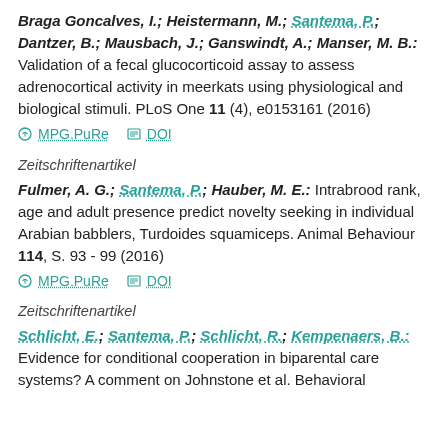Braga Goncalves, I.; Heistermann, M.; Santema, P.; Dantzer, B.; Mausbach, J.; Ganswindt, A.; Manser, M. B.: Validation of a fecal glucocorticoid assay to assess adrenocortical activity in meerkats using physiological and biological stimuli. PLoS One 11 (4), e0153161 (2016)
MPG.PuRe   DOI
Zeitschriftenartikel
Fulmer, A. G.; Santema, P.; Hauber, M. E.: Intrabrood rank, age and adult presence predict novelty seeking in individual Arabian babblers, Turdoides squamiceps. Animal Behaviour 114, S. 93 - 99 (2016)
MPG.PuRe   DOI
Zeitschriftenartikel
Schlicht, E.; Santema, P.; Schlicht, R.; Kempenaers, B.: Evidence for conditional cooperation in biparental care systems? A comment on Johnstone et al. Behavioral